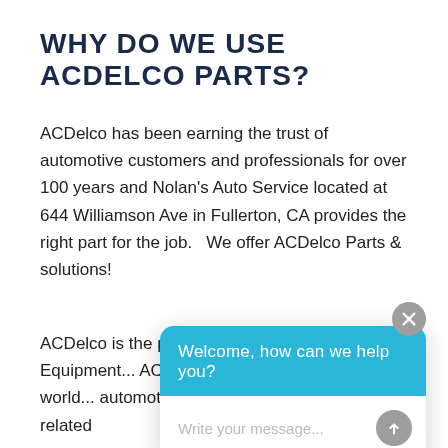WHY DO WE USE ACDELCO PARTS?
ACDelco has been earning the trust of automotive customers and professionals for over 100 years and Nolan's Auto Service located at 644 Williamson Ave in Fullerton, CA provides the right part for the job.   We offer ACDelco Parts & solutions!
ACDelco is the premier supplier of GM Original Equip[ment parts...] ACDel[co...] produ[cts...] aroun[d the world...] autom[otive replacement parts and related...]
[Figure (screenshot): Chat widget overlay with blue header reading 'Welcome, how can we help you?' and a text input area with placeholder 'Write your message...' and a send button. A gray close button (X) appears at top right.]